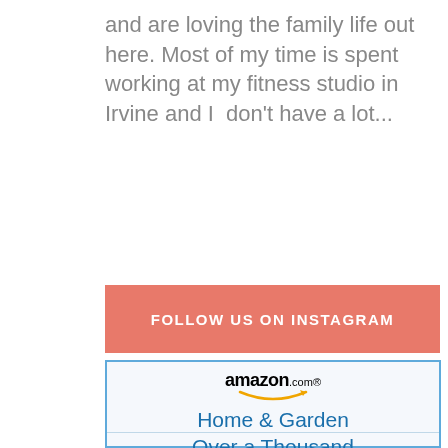and are loving the family life out here. Most of my time is spent working at my fitness studio in Irvine and I  don't have a lot...
FOLLOW US ON INSTAGRAM
[Figure (logo): Amazon.com logo with Home & Garden Over a Thousand advertisement banner]